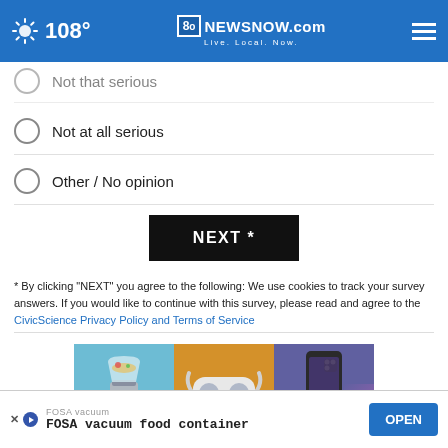108° | 8NewsNow.com | Live. Local. Now.
Not that serious (partially visible)
Not at all serious
Other / No opinion
NEXT *
* By clicking "NEXT" you agree to the following: We use cookies to track your survey answers. If you would like to continue with this survey, please read and agree to the CivicScience Privacy Policy and Terms of Service
[Figure (photo): Advertisement showing three product panels: a blender on blue background, VR headset on orange background, and iPhone on purple background, with a close X button]
FOSA vacuum | FOSA vacuum food container | OPEN